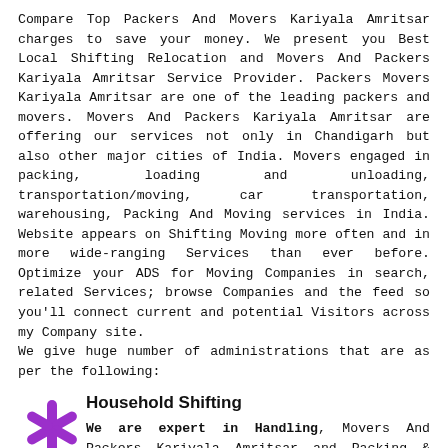Compare Top Packers And Movers Kariyala Amritsar charges to save your money. We present you Best Local Shifting Relocation and Movers And Packers Kariyala Amritsar Service Provider. Packers Movers Kariyala Amritsar are one of the leading packers and movers. Movers And Packers Kariyala Amritsar are offering our services not only in Chandigarh but also other major cities of India. Movers engaged in packing, loading and unloading, transportation/moving, car transportation, warehousing, Packing And Moving services in India. Website appears on Shifting Moving more often and in more wide-ranging Services than ever before. Optimize your ADS for Moving Companies in search, related Services; browse Companies and the feed so you'll connect current and potential Visitors across my Company site.
We give huge number of administrations that are as per the following:
[Figure (illustration): Purple asterisk/snowflake icon]
Household Shifting
We are expert in Handling, Movers And Packers Kariyala Amritsar and Packing & Shifting of Household Goods, Office goods, Commercial Equipment and Car, Logistics and Transportation.